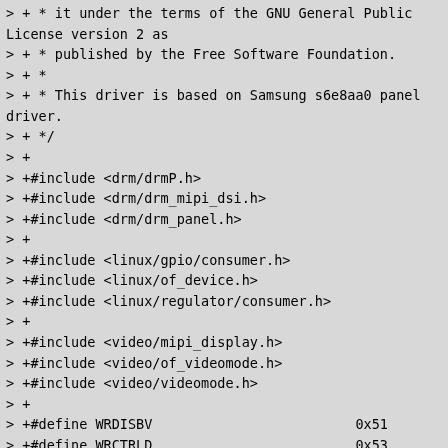> + * it under the terms of the GNU General Public License version 2 as
> + * published by the Free Software Foundation.
> + *
> + * This driver is based on Samsung s6e8aa0 panel driver.
> + */
> +
> +#include <drm/drmP.h>
> +#include <drm/drm_mipi_dsi.h>
> +#include <drm/drm_panel.h>
> +
> +#include <linux/gpio/consumer.h>
> +#include <linux/of_device.h>
> +#include <linux/regulator/consumer.h>
> +
> +#include <video/mipi_display.h>
> +#include <video/of_videomode.h>
> +#include <video/videomode.h>
> +
> +#define WRDISBV                         0x51
> +#define WRCTRLD                         0x53
> +#define WRCABC                          0x55
> +#define SETPOWER        0xb1